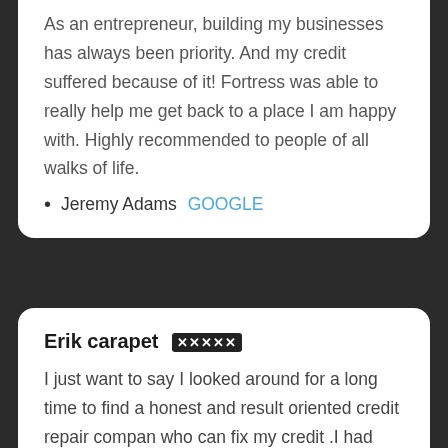As an entrepreneur, building my businesses has always been priority. And my credit suffered because of it! Fortress was able to really help me get back to a place I am happy with. Highly recommended to people of all walks of life.
Jeremy Adams GOOGLE
Erik carapet ★★★★★
I just want to say I looked around for a long time to find a honest and result oriented credit repair compan who can fix my credit .I had around. 22 negative items on my credit. Before